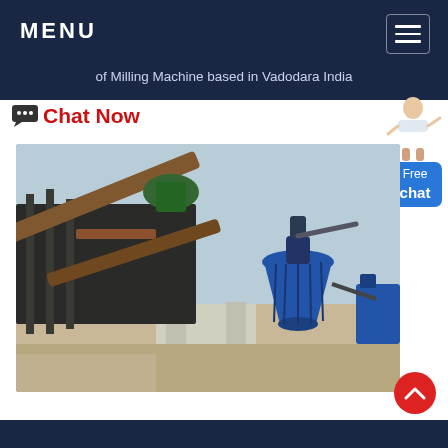MENU
of Milling Machine based in Vadodara India
Chat Now
[Figure (photo): Industrial mining/crushing equipment facility showing a blue cone crusher and conveyor belts on concrete supports under a clear sky.]